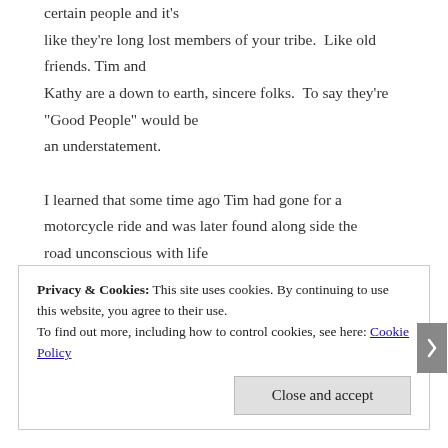certain people and it's like they're long lost members of your tribe.  Like old friends. Tim and Kathy are a down to earth, sincere folks.  To say they're "Good People" would be an understatement.

I learned that some time ago Tim had gone for a motorcycle ride and was later found along side the road unconscious with life threatening injuries and the bike wrecked.  Tim was in
Privacy & Cookies: This site uses cookies. By continuing to use this website, you agree to their use.
To find out more, including how to control cookies, see here: Cookie Policy